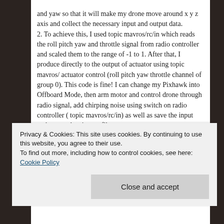and yaw so that it will make my drone move around x y z axis and collect the necessary input and output data.
2. To achieve this, I used topic mavros/rc/in which reads the roll pitch yaw and throttle signal from radio controller and scaled them to the range of -1 to 1. After that, I produce directly to the output of actuator using topic mavros/ actuator control (roll pitch yaw throttle channel of group 0). This code is fine! I can change my Pixhawk into Offboard Mode, then arm motor and control drone through radio signal, add chirping noise using switch on radio controller ( topic mavros/rc/in) as well as save the input and output data in text file.
Privacy & Cookies: This site uses cookies. By continuing to use this website, you agree to their use.
To find out more, including how to control cookies, see here: Cookie Policy